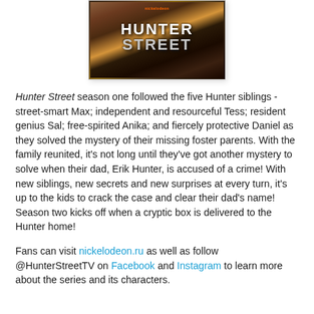[Figure (photo): Hunter Street TV show promotional image showing legs of characters standing on a wooden floor with the show's title 'Hunter Street' overlaid in large stylized text, and the Nickelodeon logo at the top.]
Hunter Street season one followed the five Hunter siblings - street-smart Max; independent and resourceful Tess; resident genius Sal; free-spirited Anika; and fiercely protective Daniel as they solved the mystery of their missing foster parents. With the family reunited, it's not long until they've got another mystery to solve when their dad, Erik Hunter, is accused of a crime! With new siblings, new secrets and new surprises at every turn, it's up to the kids to crack the case and clear their dad's name! Season two kicks off when a cryptic box is delivered to the Hunter home!
Fans can visit nickelodeon.ru as well as follow @HunterStreetTV on Facebook and Instagram to learn more about the series and its characters.